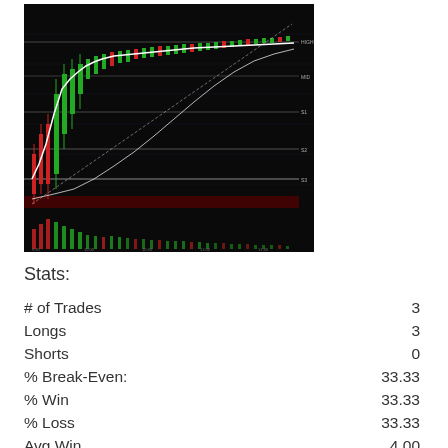[Figure (screenshot): Trading chart screenshot showing candlestick price action with green and red candles on a black background, with white moving average lines and horizontal support/resistance levels. Volume bars visible at the bottom.]
Stats:
|  |  |
| --- | --- |
| # of Trades | 3 |
| Longs | 3 |
| Shorts | 0 |
| % Break-Even: | 33.33 |
| % Win | 33.33 |
| % Loss | 33.33 |
| Avg Win | 4.00 |
| Avg Loss | -2.00 |
| Largest Win (pts) | 4.00 |
| Largest Loss (pts) | -2.00 |
| Total Win (pts) | 4.00 |
| Total Loss (pts) | -2.00 |